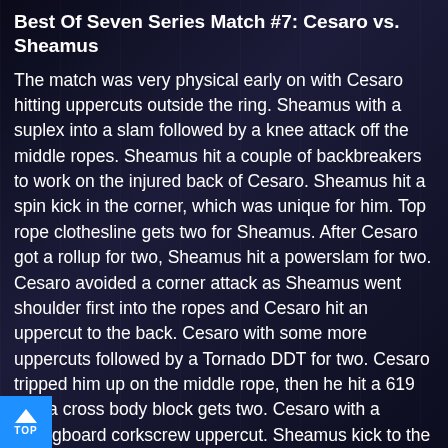Best Of Seven Series Match #7: Cesaro vs. Sheamus
The match was very physical early on with Cesaro hitting uppercuts outside the ring. Sheamus with a suplex into a slam followed by a knee attack off the middle ropes. Sheamus hit a couple of backbreakers to work on the injured back of Cesaro. Sheamus hit a spin kick in the corner, which was unique for him. Top rope clothesline gets two for Sheamus. After Cesaro got a rollup for two, Sheamus hit a powerslam for two. Cesaro avoided a corner attack as Sheamus went shoulder first into the ropes and Cesaro hit an uppercut to the back. Cesaro with some more uppercuts followed by a Tornado DDT for two. Cesaro tripped him up on the middle rope, then he hit a 619 and a cross body block gets two. Cesaro with a springboard corkscrew uppercut. Sheamus kick to the head followed by a rollup with tights gets two and Sheamus hit an Irish Curse backbreaker for two. Two more backbreakers by Sheamus good for two. Cesaro countered a Cloverleaf with a